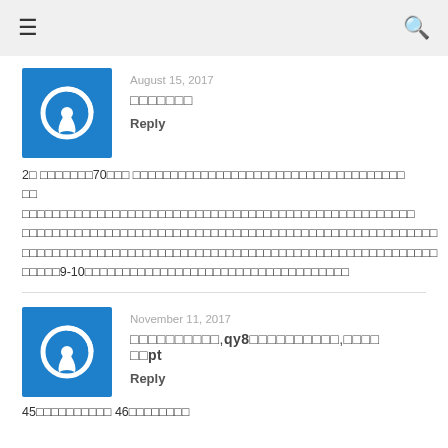≡  🔍
August 15, 2017
□□□□□□□
Reply
2□ □□□□□□□70□□□ □□□□□□□□□□□□□□□□□□□□□□□□□□□□□□□□□□□ □□ □□□□□□□□□□□□□□□□□□□□□□□□□□□□□□□□□□□□□□□□□□□□□□□□□□□□□□□□□□□□□□□□□□□□□□□□□□□□□□□□□□□□□□□□□□□□□□□□□□□□□□□□□□□□□□□□□□□□□ □□□□□9-10□□□□□□□□□□□□□□□□□□□□□□□□□□□□□□□□□□□
November 11, 2017
□□□□□□□□□□,qy8□□□□□□□□□□,□□□□ □□pt
Reply
45□□□□□□□□□□ 46□□□□□□□□